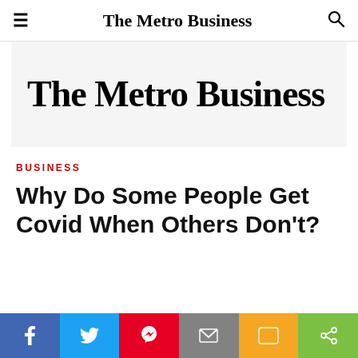The Metro Business
[Figure (logo): The Metro Business publication logo — large bold serif text on light gray background]
BUSINESS
Why Do Some People Get Covid When Others Don't?
[Figure (infographic): Social sharing bar with Facebook, Twitter, Pinterest, Email, SMS, and Share icons]